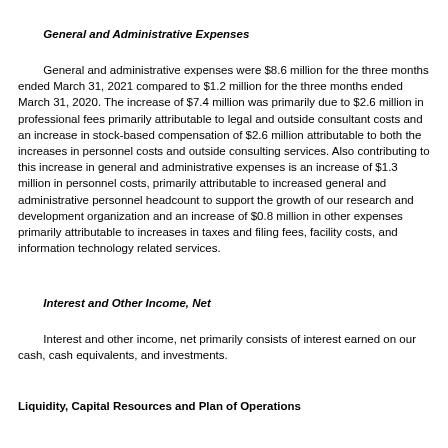General and Administrative Expenses
General and administrative expenses were $8.6 million for the three months ended March 31, 2021 compared to $1.2 million for the three months ended March 31, 2020. The increase of $7.4 million was primarily due to $2.6 million in professional fees primarily attributable to legal and outside consultant costs and an increase in stock-based compensation of $2.6 million attributable to both the increases in personnel costs and outside consulting services. Also contributing to this increase in general and administrative expenses is an increase of $1.3 million in personnel costs, primarily attributable to increased general and administrative personnel headcount to support the growth of our research and development organization and an increase of $0.8 million in other expenses primarily attributable to increases in taxes and filing fees, facility costs, and information technology related services.
Interest and Other Income, Net
Interest and other income, net primarily consists of interest earned on our cash, cash equivalents, and investments.
Liquidity, Capital Resources and Plan of Operations